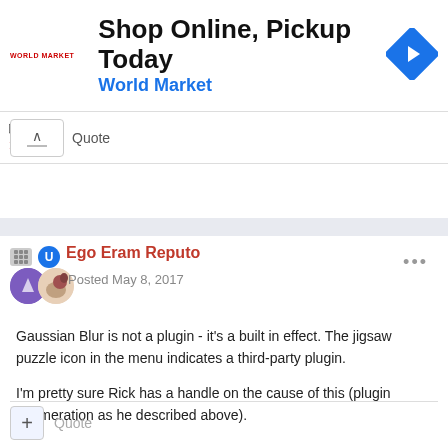[Figure (screenshot): World Market advertisement banner: 'Shop Online, Pickup Today' with World Market logo and blue navigation arrow icon]
Quote
Ego Eram Reputo
Posted May 8, 2017
Gaussian Blur is not a plugin - it's a built in effect. The jigsaw puzzle icon in the menu indicates a third-party plugin.

I'm pretty sure Rick has a handle on the cause of this (plugin enumeration as he described above).
Quote